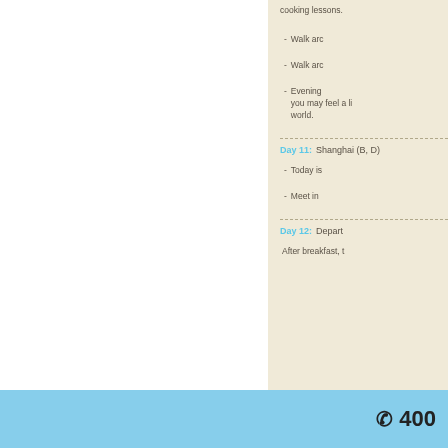cooking lessons.
Walk arc
Walk arc
Evening - you may feel a li world.
Day 11: Shanghai (B, D)
Today is
Meet in
Day 12: Depart
After breakfast, t
400